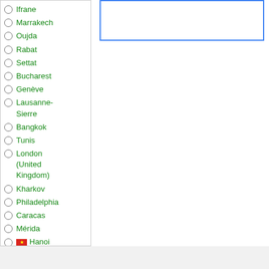Ifrane
Marrakech
Oujda
Rabat
Settat
Bucharest
Genève
Lausanne-Sierre
Bangkok
Tunis
London (United Kingdom)
Kharkov
Philadelphia
Caracas
Mérida
Hanoi
Ho Chi Minh City